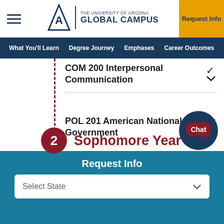[Figure (logo): University of Arizona Global Campus logo with hamburger menu and Request Info button]
What You'll Learn | Degree Journey | Emphases | Career Outcomes | Fa...
COM 200 Interpersonal Communication
POL 201 American National Government
2 Sophomore Year
Request Info
Select State